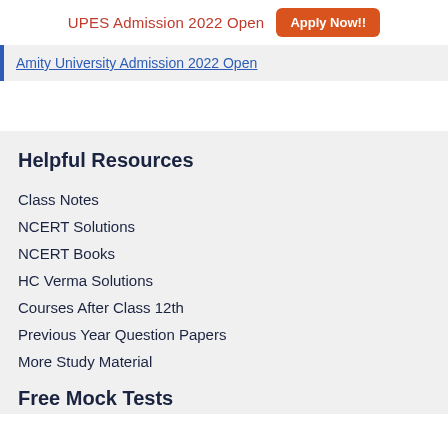UPES Admission 2022 Open  Apply Now!!
Amity University Admission 2022 Open
Helpful Resources
Class Notes
NCERT Solutions
NCERT Books
HC Verma Solutions
Courses After Class 12th
Previous Year Question Papers
More Study Material
Free Mock Tests